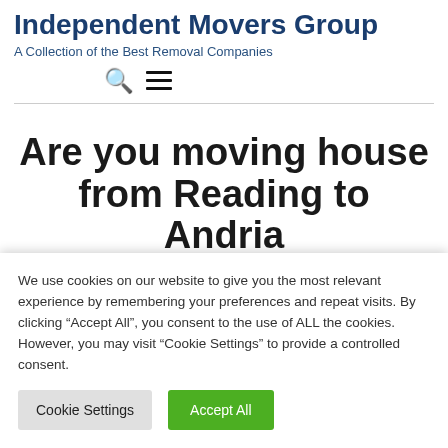Independent Movers Group
A Collection of the Best Removal Companies
Are you moving house from Reading to Andria
We use cookies on our website to give you the most relevant experience by remembering your preferences and repeat visits. By clicking “Accept All”, you consent to the use of ALL the cookies. However, you may visit “Cookie Settings” to provide a controlled consent.